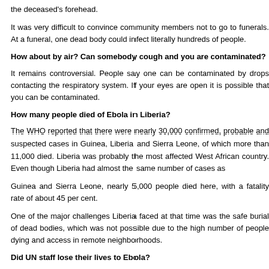the deceased's forehead.
It was very difficult to convince community members not to go to funerals. At a funeral, one dead body could infect literally hundreds of people.
How about by air? Can somebody cough and you are contaminated?
It remains controversial. People say one can be contaminated by drops contacting the respiratory system. If your eyes are open it is possible that you can be contaminated.
How many people died of Ebola in Liberia?
The WHO reported that there were nearly 30,000 confirmed, probable and suspected cases in Guinea, Liberia and Sierra Leone, of which more than 11,000 died. Liberia was probably the most affected West African country. Even though Liberia had almost the same number of cases as
Guinea and Sierra Leone, nearly 5,000 people died here, with a fatality rate of about 45 per cent.
One of the major challenges Liberia faced at that time was the safe burial of dead bodies, which was not possible due to the high number of people dying and access in remote neighborhoods.
Did UN staff lose their lives to Ebola?